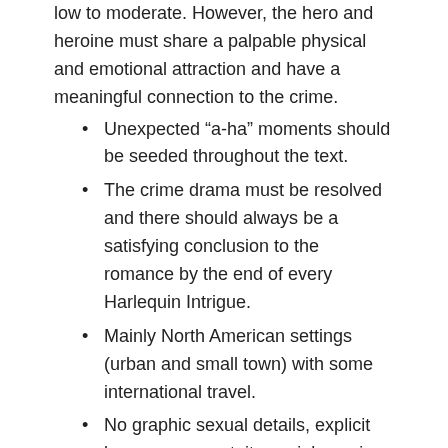low to moderate. However, the hero and heroine must share a palpable physical and emotional attraction and have a meaningful connection to the crime.
Unexpected “a-ha” moments should be seeded throughout the text.
The crime drama must be resolved and there should always be a satisfying conclusion to the romance by the end of every Harlequin Intrigue.
Mainly North American settings (urban and small town) with some international travel.
No graphic sexual details, explicit language or gratuitous violence in text.
Word count of 55,000-60,000 words.
Subplots should be kept to a minimum.
Featured in Harlequin Intrigue
Taut, edge-of-the-seat contemporary crime stories. Homicide investigations, kidnappings, stalkings are among the plots we